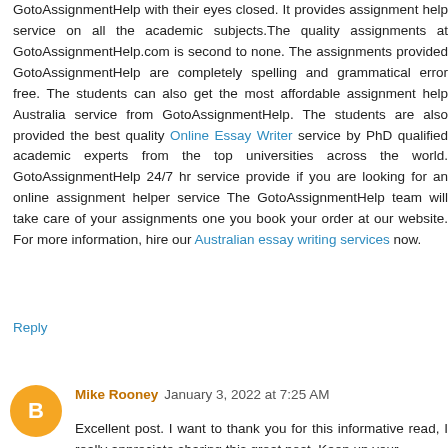GotoAssignmentHelp with their eyes closed. It provides assignment help service on all the academic subjects.The quality assignments at GotoAssignmentHelp.com is second to none. The assignments provided GotoAssignmentHelp are completely spelling and grammatical error free. The students can also get the most affordable assignment help Australia service from GotoAssignmentHelp. The students are also provided the best quality Online Essay Writer service by PhD qualified academic experts from the top universities across the world. GotoAssignmentHelp 24/7 hr service provide if you are looking for an online assignment helper service The GotoAssignmentHelp team will take care of your assignments one you book your order at our website. For more information, hire our Australian essay writing services now.
Reply
Mike Rooney  January 3, 2022 at 7:25 AM
Excellent post. I want to thank you for this informative read, I really appreciate sharing this great post. Keep up your